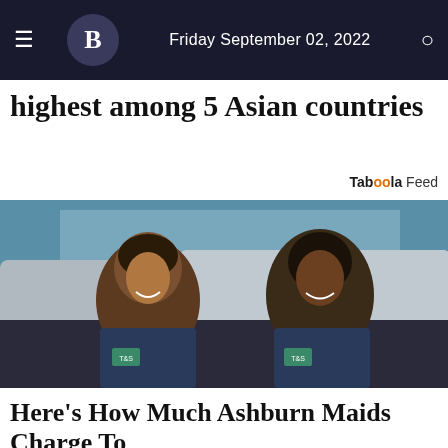Friday September 02, 2022
highest among 5 Asian countries
Taboola Feed
[Figure (photo): Two women in navy blue uniforms smiling in front of vehicles outdoors]
Here's How Much Ashburn Maids Charge To